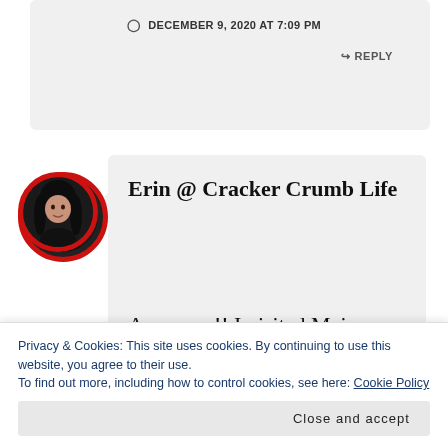DECEMBER 9, 2020 AT 7:09 PM
↳ REPLY
[Figure (photo): Circular avatar photo of a woman with dark hair, wearing a black top, with a red circular border]
Erin @ Cracker Crumb Life
Awesome!! I visited Maine once, in high school. and I have
Privacy & Cookies: This site uses cookies. By continuing to use this website, you agree to their use.
To find out more, including how to control cookies, see here: Cookie Policy
Close and accept